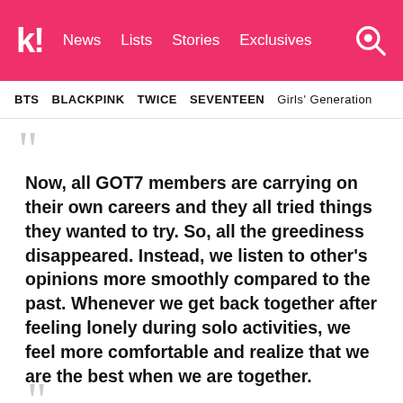k! News  Lists  Stories  Exclusives
BTS  BLACKPINK  TWICE  SEVENTEEN  Girls' Generation
Now, all GOT7 members are carrying on their own careers and they all tried things they wanted to try. So, all the greediness disappeared. Instead, we listen to other's opinions more smoothly compared to the past. Whenever we get back together after feeling lonely during solo activities, we feel more comfortable and realize that we are the best when we are together.
— Yugyeom | W Korea